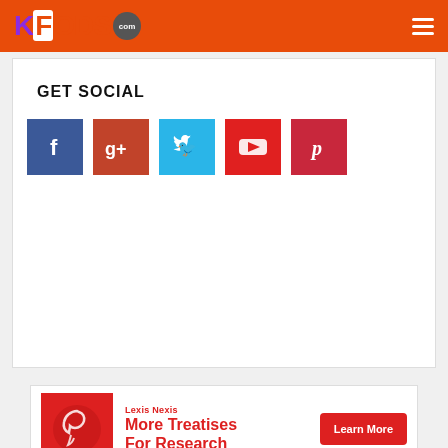KFoods.com
GET SOCIAL
[Figure (infographic): Social media icons: Facebook (blue), Google+ (red-orange), Twitter (light blue), YouTube (red), Pinterest (dark red)]
[Figure (infographic): Lexis Nexis advertisement: More Treatises For Research — Learn More button]